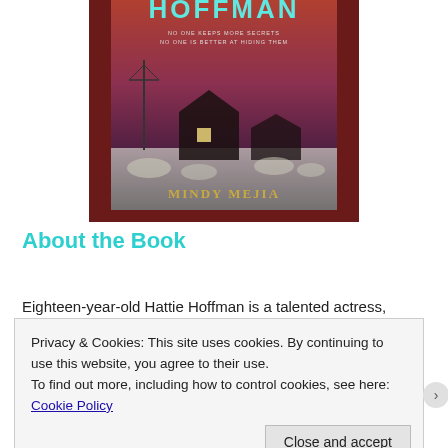[Figure (photo): A photograph of a book titled with 'HOFFMAN' visible at the top, subtitled 'NO ONE KEEPS MORE SECRETS NO ONE IS BETTER AT HIDING THEM', with an image of a farmhouse and windmill at dusk/night, and the author name 'MINDY MEJIA' at the bottom. The book is placed on a dark red/maroon textured surface.]
About the Book
Eighteen-year-old Hattie Hoffman is a talented actress,
Privacy & Cookies: This site uses cookies. By continuing to use this website, you agree to their use.
To find out more, including how to control cookies, see here: Cookie Policy